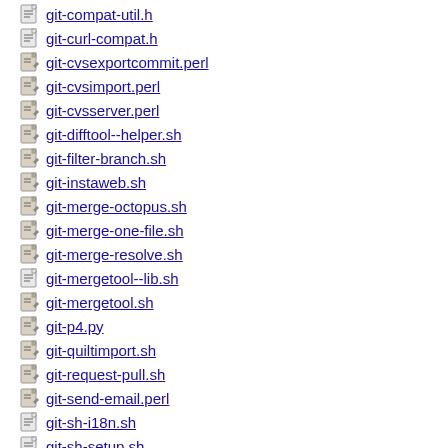git-compat-util.h
git-curl-compat.h
git-cvsexportcommit.perl
git-cvsimport.perl
git-cvsserver.perl
git-difftool--helper.sh
git-filter-branch.sh
git-instaweb.sh
git-merge-octopus.sh
git-merge-one-file.sh
git-merge-resolve.sh
git-mergetool--lib.sh
git-mergetool.sh
git-p4.py
git-quiltimport.sh
git-request-pull.sh
git-send-email.perl
git-sh-i18n.sh
git-sh-setup.sh